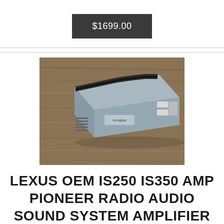$1699.00
[Figure (photo): Photo of a Lexus OEM IS250 IS350 Pioneer radio audio sound system amplifier unit placed on a wooden surface. The amplifier is a rectangular silver/gray metal box with black heat sink fins on top and connector ports on one end.]
LEXUS OEM IS250 IS350 AMP PIONEER RADIO AUDIO SOUND SYSTEM AMPLIFIER 2006-2009 2